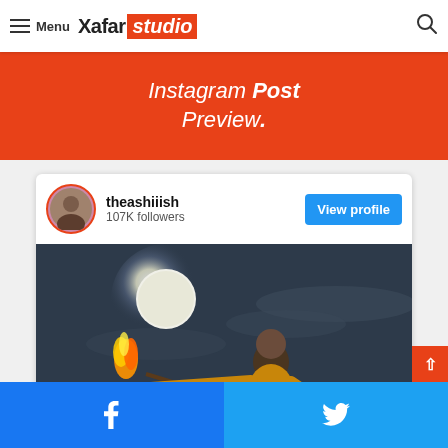Menu | Xafar studio
Post Preview.
[Figure (photo): Instagram-style profile card for user 'theashiiish' with 107K followers and a View profile button, followed by a photo of a young man holding a flaming rose against a moonlit night sky]
theashiiish
107K followers
[Figure (photo): Social share buttons: Facebook and Twitter share buttons at the bottom]